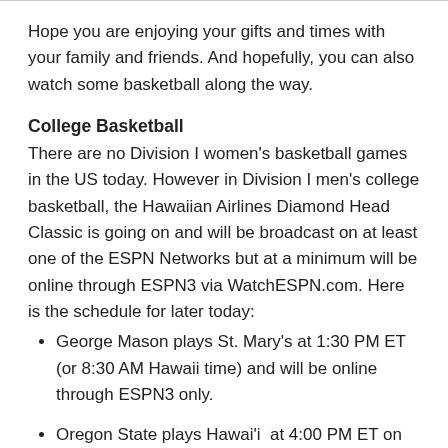Hope you are enjoying your gifts and times with your family and friends.  And hopefully, you can also watch some basketball along the way.
College Basketball
There are no Division I women's basketball games in the US today.  However in Division I men's college basketball, the Hawaiian Airlines Diamond Head Classic is going on and will be broadcast on at least one of the ESPN Networks but at a minimum will be online through ESPN3 via WatchESPN.com.  Here is the schedule for later today:
George Mason plays St. Mary's at 1:30 PM ET (or 8:30 AM Hawaii time) and will be online through ESPN3 only.
Oregon State plays Hawai'i  at 4:00 PM ET on ESPN U.